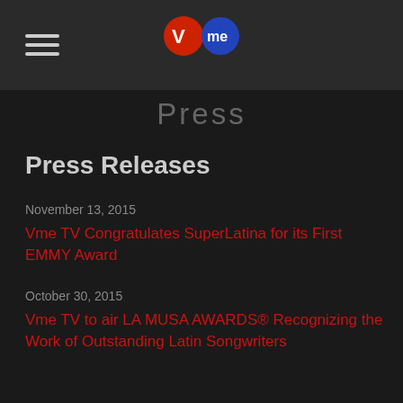Vme TV
Press
Press Releases
November 13, 2015
Vme TV Congratulates SuperLatina for its First EMMY Award
October 30, 2015
Vme TV to air LA MUSA AWARDS® Recognizing the Work of Outstanding Latin Songwriters